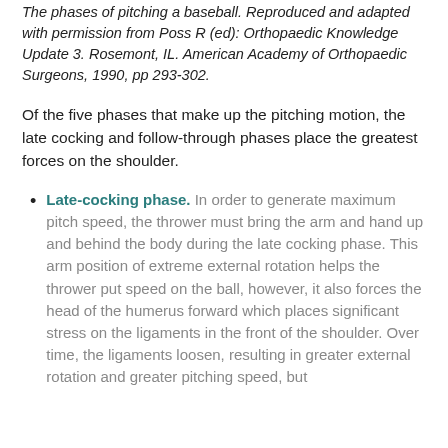The phases of pitching a baseball. Reproduced and adapted with permission from Poss R (ed): Orthopaedic Knowledge Update 3. Rosemont, IL. American Academy of Orthopaedic Surgeons, 1990, pp 293-302.
Of the five phases that make up the pitching motion, the late cocking and follow-through phases place the greatest forces on the shoulder.
Late-cocking phase. In order to generate maximum pitch speed, the thrower must bring the arm and hand up and behind the body during the late cocking phase. This arm position of extreme external rotation helps the thrower put speed on the ball, however, it also forces the head of the humerus forward which places significant stress on the ligaments in the front of the shoulder. Over time, the ligaments loosen, resulting in greater external rotation and greater pitching speed, but